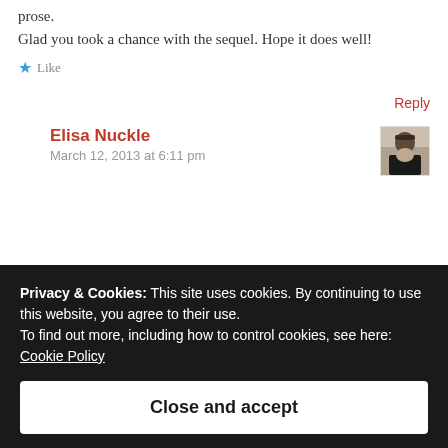prose.
Glad you took a chance with the sequel. Hope it does well!
★ Like
Reply
Elisa Nuckle
March 12, 2013 at 6:11 pm
Privacy & Cookies: This site uses cookies. By continuing to use this website, you agree to their use.
To find out more, including how to control cookies, see here:
Cookie Policy
Close and accept